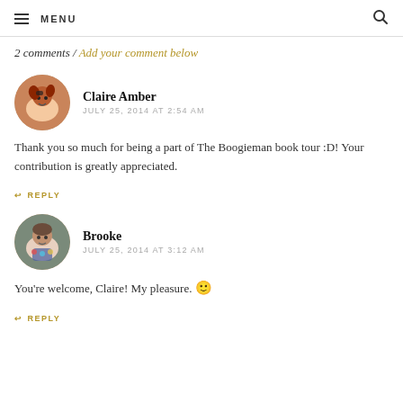MENU
2 comments / Add your comment below
Claire Amber
JULY 25, 2014 AT 2:54 AM
Thank you so much for being a part of The Boogieman book tour :D! Your contribution is greatly appreciated.
↩ REPLY
Brooke
JULY 25, 2014 AT 3:12 AM
You're welcome, Claire! My pleasure. 🙂
↩ REPLY